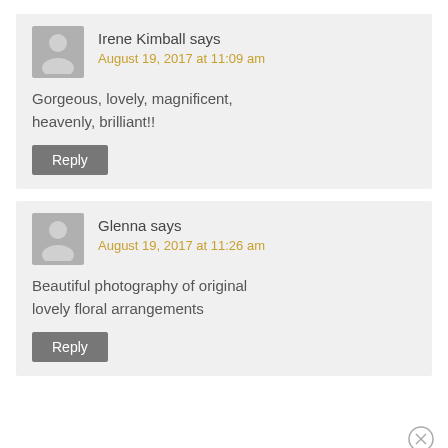Irene Kimball says
August 19, 2017 at 11:09 am
Gorgeous, lovely, magnificent, heavenly, brilliant!!
Reply
Glenna says
August 19, 2017 at 11:26 am
Beautiful photography of original lovely floral arrangements
Reply